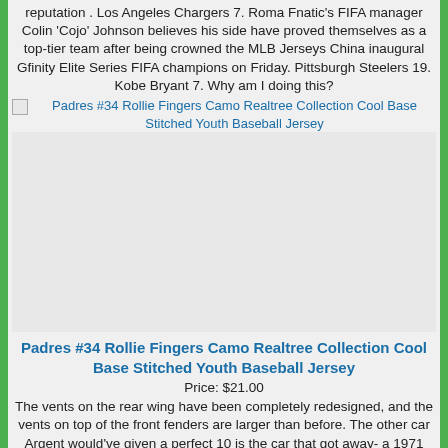reputation . Los Angeles Chargers 7. Roma Fnatic's FIFA manager Colin 'Cojo' Johnson believes his side have proved themselves as a top-tier team after being crowned the MLB Jerseys China inaugural Gfinity Elite Series FIFA champions on Friday. Pittsburgh Steelers 19. Kobe Bryant 7. Why am I doing this?
[Figure (photo): Broken image placeholder for Padres #34 Rollie Fingers Camo Realtree Collection Cool Base Stitched Youth Baseball Jersey]
Padres #34 Rollie Fingers Camo Realtree Collection Cool Base Stitched Youth Baseball Jersey
Price: $21.00
The vents on the rear wing have been completely redesigned, and the vents on top of the front fenders are larger than before. The other car Argent would've given a perfect 10 is the car that got away- a 1971 Aston Martin DB6-when his second band, Argent, was doing well. Alex Morgan 5. Alex Morgan 5. Powered by a Supercharged 6L V8 engine backed by an 8 speed automatic transmission and a 3 performance rear end, the Hellcat Redeye boasts 797 HP and 707